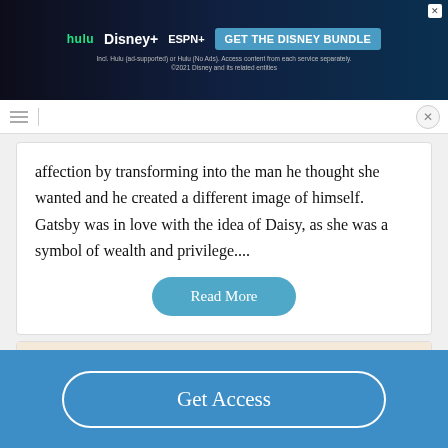[Figure (screenshot): Disney Bundle advertisement banner with Hulu, Disney+, ESPN+ logos and 'GET THE DISNEY BUNDLE' call to action button on dark blue background]
affection by transforming into the man he thought she wanted and he created a different image of himself. Gatsby was in love with the idea of Daisy, as she was a symbol of wealth and privilege....
Read More
Good Essays
Why Is Huxley Important In Brave New World
Get Access